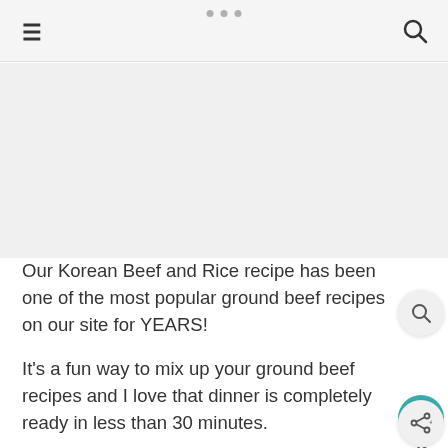navigation header with hamburger menu, dots, and search icon
[Figure (photo): Light gray placeholder area representing a food photo (Korean Beef and Rice)]
Our Korean Beef and Rice recipe has been one of the most popular ground beef recipes on our site for YEARS!
It’s a fun way to mix up your ground beef recipes and I love that dinner is completely ready in less than 30 minutes.
If you have an Instant Pot, be sure to check